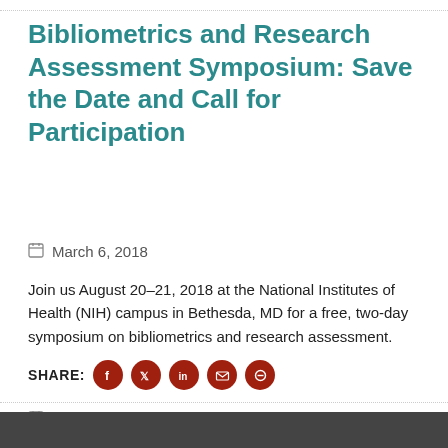Bibliometrics and Research Assessment Symposium: Save the Date and Call for Participation
March 6, 2018
Join us August 20–21, 2018 at the National Institutes of Health (NIH) campus in Bethesda, MD for a free, two-day symposium on bibliometrics and research assessment.
SHARE:
Last modified date: Thu, 03/29/2018-10:40 am